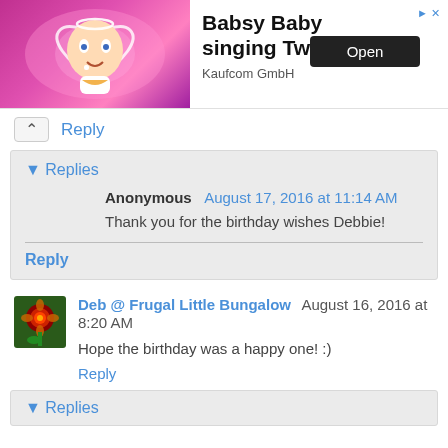[Figure (other): Ad banner for Babsy Baby singing Twinkle app by Kaufcom GmbH with Open button]
Reply
▾ Replies
Anonymous August 17, 2016 at 11:14 AM
Thank you for the birthday wishes Debbie!
Reply
[Figure (illustration): Small avatar thumbnail of a red flower/sunflower for Deb @ Frugal Little Bungalow]
Deb @ Frugal Little Bungalow August 16, 2016 at 8:20 AM
Hope the birthday was a happy one! :)
Reply
▾ Replies